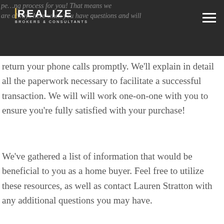…personalize the buying process for you! That means we are always here when you have questions and will
[Figure (logo): Realize Brokers & Consultants logo — white text with gold vertical bar accent on dark background]
return your phone calls promptly. We'll explain in detail all the paperwork necessary to facilitate a successful transaction. We will will work one-on-one with you to ensure you're fully satisfied with your purchase!
We've gathered a list of information that would be beneficial to you as a home buyer. Feel free to utilize these resources, as well as contact Lauren Stratton with any additional questions you may have.